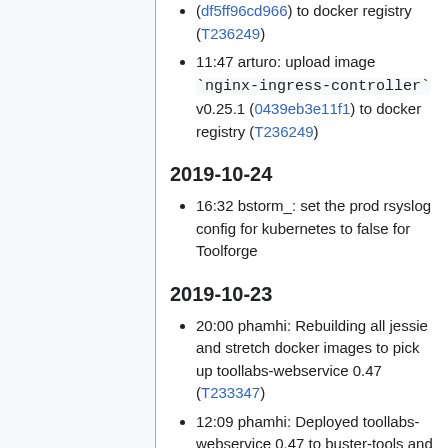(df5ff96cd966) to docker registry (T236249)
11:47 arturo: upload image `nginx-ingress-controller` v0.25.1 (0439eb3e11f1) to docker registry (T236249)
2019-10-24
16:32 bstorm_: set the prod rsyslog config for kubernetes to false for Toolforge
2019-10-23
20:00 phamhi: Rebuilding all jessie and stretch docker images to pick up toollabs-webservice 0.47 (T233347)
12:09 phamhi: Deployed toollabs-webservice 0.47 to buster-tools and stretch-tools (T233347)
09:13 arturo: 9 tools-sgeexec nodes